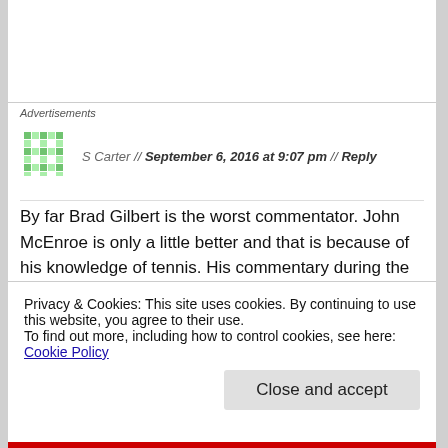Advertisements
[Figure (other): Green pixel/mosaic avatar icon for commenter S Carter]
S Carter // September 6, 2016 at 9:07 pm // Reply
By far Brad Gilbert is the worst commentator. John McEnroe is only a little better and that is because of his knowledge of tennis. His commentary during the Murray/Dimitrov match was so negative...and every single point...I muted the coverage. If he wants to be Dimitrov's coach, he should ask and not comment on
Privacy & Cookies: This site uses cookies. By continuing to use this website, you agree to their use.
To find out more, including how to control cookies, see here: Cookie Policy
Close and accept